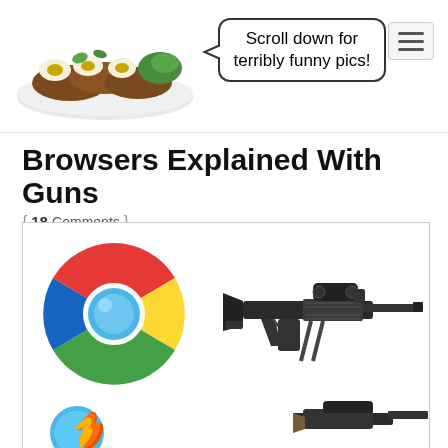[Figure (illustration): Website header with food plate illustration and speech bubble saying 'Scroll down for terribly funny pics!' and hamburger menu icon]
Browsers Explained With Guns
{ 18 Comments }
[Figure (illustration): Image showing Chrome browser logo next to an AR-15 style assault rifle, and partial Firefox logo with partial rifle below]